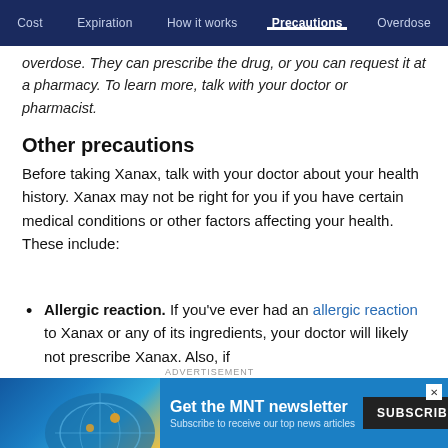Cost | Expiration | How it works | Precautions | Overdose
overdose. They can prescribe the drug, or you can request it at a pharmacy. To learn more, talk with your doctor or pharmacist.
Other precautions
Before taking Xanax, talk with your doctor about your health history. Xanax may not be right for you if you have certain medical conditions or other factors affecting your health. These include:
Allergic reaction. If you've ever had an allergic reaction to Xanax or any of its ingredients, your doctor will likely not prescribe Xanax. Also, if
[Figure (infographic): Advertisement banner for MNT newsletter with Subscribe button and globe graphic. Text: 'Get the MNT newsletter' / 'Subscribe to receive our top news articles' / SUBSCRIBE button]